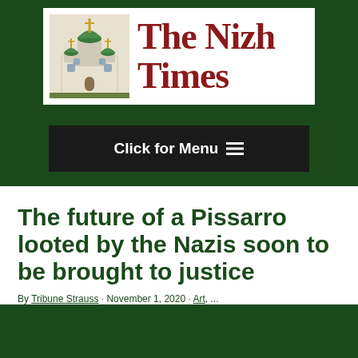[Figure (logo): The Nizh Times newspaper logo with a Ukrainian church illustration on the left and the text 'The Nizh Times' in dark red serif font on the right, inside a white rectangle on a dark green background]
Click for Menu ☰
The future of a Pissarro looted by the Nazis soon to be brought to justice
By Tribune Strauss · November 1, 2020 · Art, ...